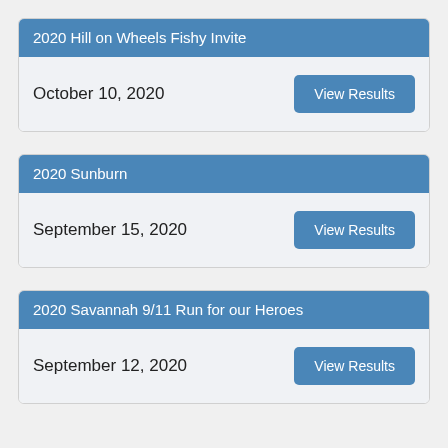2020 Hill on Wheels Fishy Invite
October 10, 2020
2020 Sunburn
September 15, 2020
2020 Savannah 9/11 Run for our Heroes
September 12, 2020